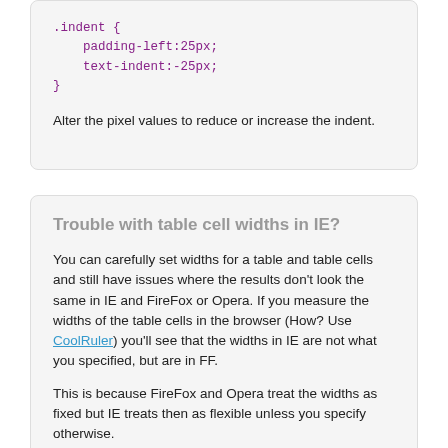.indent {
    padding-left:25px;
    text-indent:-25px;
}
Alter the pixel values to reduce or increase the indent.
Trouble with table cell widths in IE?
You can carefully set widths for a table and table cells and still have issues where the results don't look the same in IE and FireFox or Opera. If you measure the widths of the table cells in the browser (How? Use CoolRuler) you'll see that the widths in IE are not what you specified, but are in FF.
This is because FireFox and Opera treat the widths as fixed but IE treats then as flexible unless you specify otherwise.
To solve this add a style to your table, table-layout: fixed;
Trouble with inline tables in Chrome or Safari?